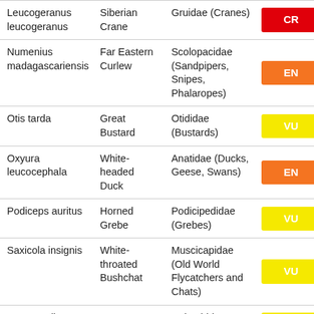| Leucogeranus leucogeranus | Siberian Crane | Gruidae (Cranes) | CR |
| Numenius madagascariensis | Far Eastern Curlew | Scolopacidae (Sandpipers, Snipes, Phalaropes) | EN |
| Otis tarda | Great Bustard | Otididae (Bustards) | VU |
| Oxyura leucocephala | White-headed Duck | Anatidae (Ducks, Geese, Swans) | EN |
| Podiceps auritus | Horned Grebe | Podicipedidae (Grebes) | VU |
| Saxicola insignis | White-throated Bushchat | Muscicapidae (Old World Flycatchers and Chats) | VU |
| Streptopelia turtur | European Turtle-dove | Columbidae (Pigeons, Doves) | VU |